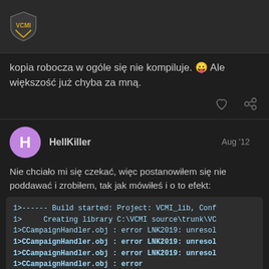VCMI
kopia robocza w ogóle się nie kompiluje. 😛 Ale większość już chyba za mną.
HellKiller  Aug '12
Nie chciało mi się czekać, więc postanowiłem się nie poddawać i zrobiłem, tak jak mówiłeś i o to efekt:
[Figure (screenshot): Code block showing build output with errors: 1>------ Build started: Project: VCMI_lib, Conf, 1> Creating library C:\VCMI source\trunk\VC, 1>CCampaignHandler.obj : error LNK2019: unresol (multiple lines), 1>CCampaignHandler.obj : error]